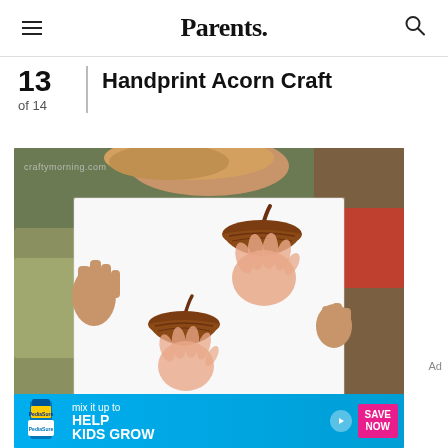Parents.
13 of 14 — Handprint Acorn Craft
[Figure (photo): Child holding up a white piece of paper showing two handprint acorn craft paintings made with brown paint — the handprint forms the body of the acorn and a painted brown cap sits on top. A watermark reads craftymorning.com.]
[Figure (infographic): PediaSure advertisement banner: 'mix it up to HELP KIDS GROW' with Save Now button on cyan/blue background.]